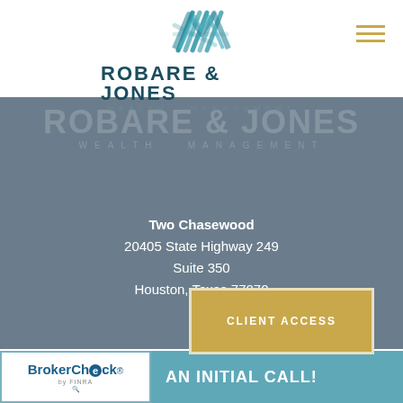[Figure (logo): Robare & Jones Wealth Management logo with teal geometric mark above the company name]
ROBARE & JONES WEALTH MANAGEMENT
[Figure (logo): Ghost/watermark version of Robare & Jones Wealth Management logo on gray background]
Two Chasewood
20405 State Highway 249
Suite 350
Houston, Texas 77070
CLIENT ACCESS
[Figure (logo): BrokerCheck by FINRA logo]
AN INITIAL CALL!